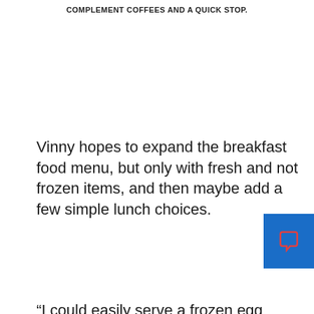COMPLEMENT COFFEES AND A QUICK STOP.
Vinny hopes to expand the breakfast food menu, but only with fresh and not frozen items, and then maybe add a few simple lunch choices.
“I could easily serve a frozen egg to students,” he said. “But I don’t want to serve that. I want to serve something that’s higher quality.”
The Guzzis are not interested in turning the cafe into a meal-focused enterprise. Nor do they want people to think it’s just an extension of the bakery.
“What we think about when we think about a coffee